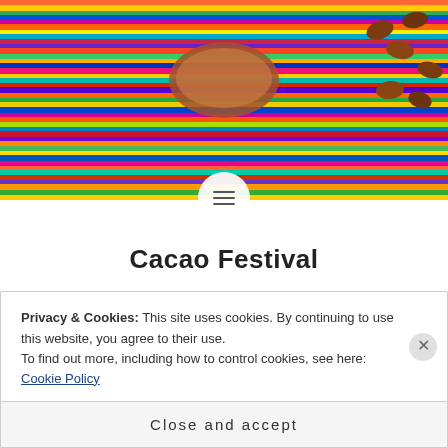[Figure (photo): Colorful striped textile/fabric with cacao pod and cacao beans, vibrant pattern in multiple colors]
Cacao Festival
When it comes to chocolate I am always alerted. A while ago, I've found a Cacao Festival in Amsterdam and when I went through the event description I saw that there
Privacy & Cookies: This site uses cookies. By continuing to use this website, you agree to their use.
To find out more, including how to control cookies, see here: Cookie Policy
Close and accept